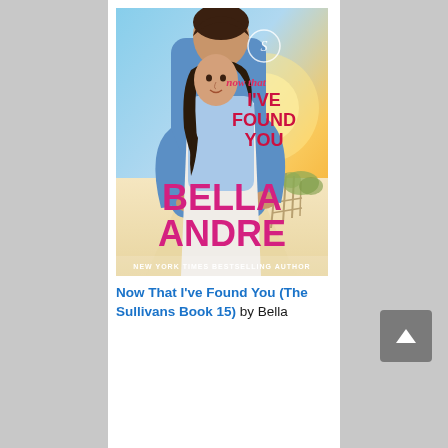[Figure (photo): Book cover for 'Now That I've Found You (The Sullivans Book 15)' by Bella Andre. Shows a couple embracing on a beach at sunset. The man stands behind the woman with his arms wrapped around her. Text on cover reads 'now that I'VE FOUND YOU' in red/pink script and block lettering, 'BELLA ANDRE' in large magenta letters, and 'NEW YORK TIMES BESTSELLING AUTHOR' at the bottom.]
Now That I've Found You (The Sullivans Book 15) by Bella